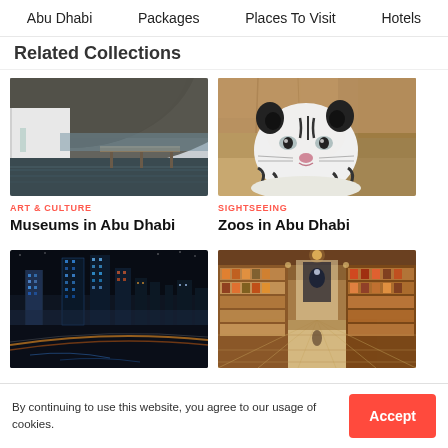Abu Dhabi  Packages  Places To Visit  Hotels
Related Collections
[Figure (photo): Underside of a curved concrete structure over water, museum architecture]
ART & CULTURE
Museums in Abu Dhabi
[Figure (photo): White tiger resting, looking at camera, zoo setting]
SIGHTSEEING
Zoos in Abu Dhabi
[Figure (photo): Abu Dhabi city skyline at night with illuminated skyscrapers and light trails]
[Figure (photo): Indoor market corridor with shelves of goods and warm lighting]
By continuing to use this website, you agree to our usage of cookies.
Accept